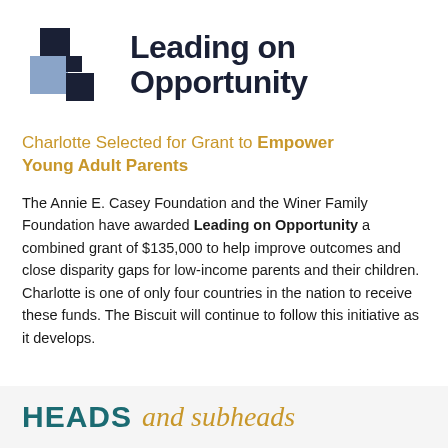[Figure (logo): Leading on Opportunity logo with geometric square blocks in blue/navy and the text 'Leading on Opportunity' in bold dark navy]
Charlotte Selected for Grant to Empower Young Adult Parents
The Annie E. Casey Foundation and the Winer Family Foundation have awarded Leading on Opportunity a combined grant of $135,000 to help improve outcomes and close disparity gaps for low-income parents and their children. Charlotte is one of only four countries in the nation to receive these funds. The Biscuit will continue to follow this initiative as it develops.
HEADS and subheads